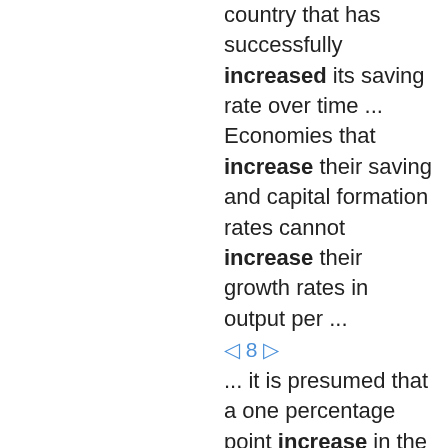country that has successfully increased its saving rate over time ... Economies that increase their saving and capital formation rates cannot increase their growth rates in output per ...
◁ 8 ▷
... it is presumed that a one percentage point increase in the capital stock will increase growth in output by approximately a third of a percentage point . i Table 1 presents the results of seven major growth accounting studies taken ...
◁ 10 ▷
Solow estimated that technical progress